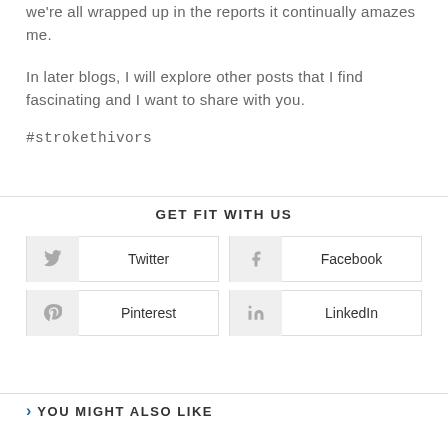we're all wrapped up in the reports it continually amazes me.
In later blogs, I will explore other posts that I find fascinating and I want to share with you.
#strokethivors
GET FIT WITH US
Twitter
Facebook
Pinterest
LinkedIn
YOU MIGHT ALSO LIKE